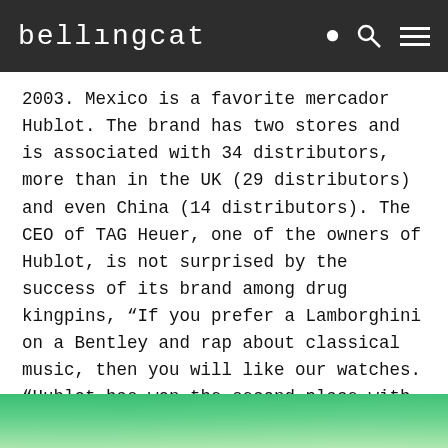bellingcat
2003. Mexico is a favorite mercador Hublot. The brand has two stores and is associated with 34 distributors, more than in the UK (29 distributors) and even China (14 distributors). The CEO of TAG Heuer, one of the owners of Hublot, is not surprised by the success of its brand among drug kingpins, “If you prefer a Lamborghini on a Bentley and rap about classical music, then you will like our watches. “Hublot has won the second place with five points valued at 554,400 euros.
– Hublot King Power Miami 305 Limited Edition (10 pieces), EUR 435 000:
[Figure (photo): Bottom strip showing a green-colored image, likely a product or watch photo]